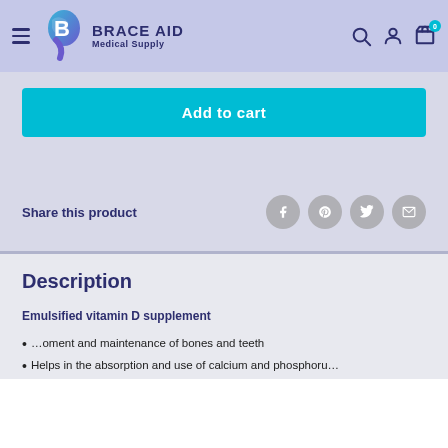[Figure (logo): Brace Aid Medical Supply logo with hamburger menu icon on the left and search, user, and cart icons on the right in a purple-blue header bar]
Add to cart
Share this product
Description
Emulsified vitamin D supplement
...oment and maintenance of bones and teeth
Helps in the absorption and use of calcium and phosphorus
Chat with us